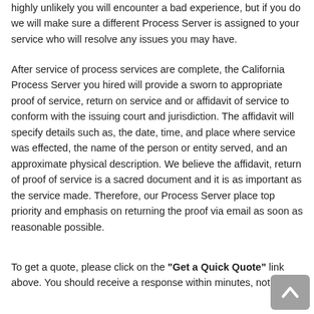highly unlikely you will encounter a bad experience, but if you do we will make sure a different Process Server is assigned to your service who will resolve any issues you may have.
After service of process services are complete, the California Process Server you hired will provide a sworn to appropriate proof of service, return on service and or affidavit of service to conform with the issuing court and jurisdiction. The affidavit will specify details such as, the date, time, and place where service was effected, the name of the person or entity served, and an approximate physical description. We believe the affidavit, return of proof of service is a sacred document and it is as important as the service made. Therefore, our Process Server place top priority and emphasis on returning the proof via email as soon as reasonable possible.
To get a quote, please click on the "Get a Quick Quote" link above. You should receive a response within minutes, not hours.